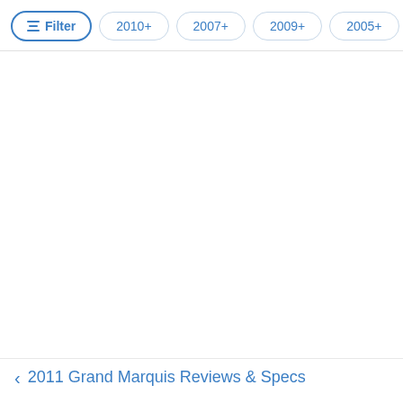Filter  2010+  2007+  2009+  2005+  >
< 2011 Grand Marquis Reviews & Specs